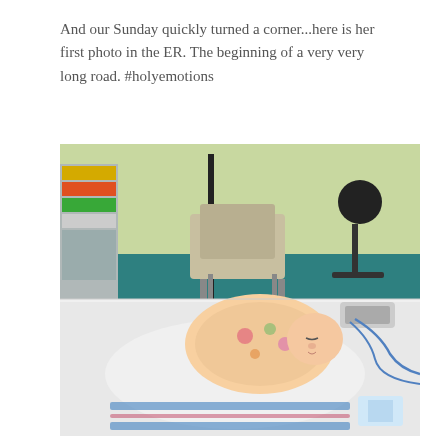And our Sunday quickly turned a corner...here is her first photo in the ER. The beginning of a very very long road. #holyemotions
[Figure (photo): A newborn baby wrapped in a colorful floral blanket and a white and blue striped hospital blanket, lying on a white hospital bed in an emergency room. A medical cart with colorful folders is visible on the left, a tan hospital chair and a black stool in the background, teal floor, and medical equipment/remote on the bed.]